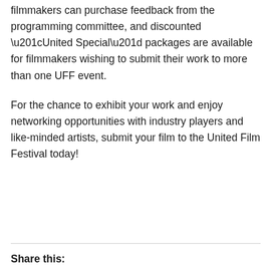filmmakers can purchase feedback from the programming committee, and discounted “United Special” packages are available for filmmakers wishing to submit their work to more than one UFF event.
For the chance to exhibit your work and enjoy networking opportunities with industry players and like-minded artists, submit your film to the United Film Festival today!
Share this: